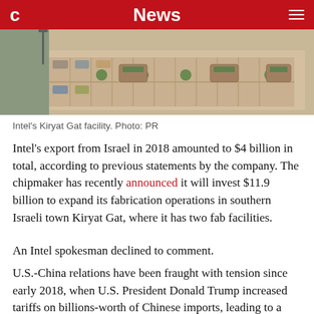News
[Figure (photo): Aerial view of Intel's Kiryat Gat facility showing parking lots and buildings]
Intel's Kiryat Gat facility. Photo: PR
Intel's export from Israel in 2018 amounted to $4 billion in total, according to previous statements by the company. The chipmaker has recently announced it will invest $11.9 billion to expand its fabrication operations in southern Israeli town Kiryat Gat, where it has two fab facilities.
An Intel spokesman declined to comment.
U.S.-China relations have been fraught with tension since early 2018, when U.S. President Donald Trump increased tariffs on billions-worth of Chinese imports, leading to a series of one-ups between both countries. The unease has raised concerns about China blocking U.S.-related deals. In July, a $44 billion